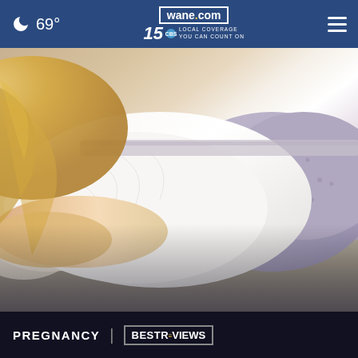🌙 69° | wane.com | 15 LOCAL COVERAGE YOU CAN COUNT ON
[Figure (photo): Pregnant woman lying on her side in bed, wearing a white top and purple/grey patterned pants, hugging a pillow]
PREGNANCY | BESTREVIEWS